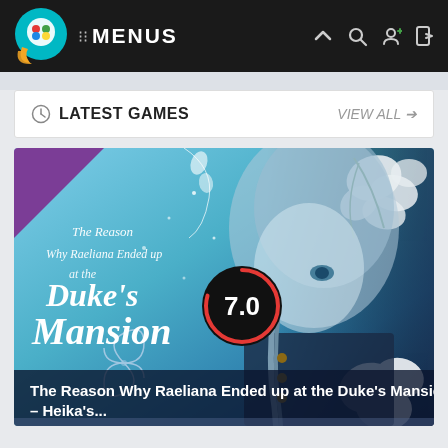:: MENUS
LATEST GAMES | VIEW ALL →
[Figure (screenshot): Game promotional image for 'The Reason Why Raeliana Ended up at the Duke's Mansion' showing anime art of a blue-haired character with white roses, with a score badge showing 7.0]
The Reason Why Raeliana Ended up at the Duke's Mansion – Heika's...